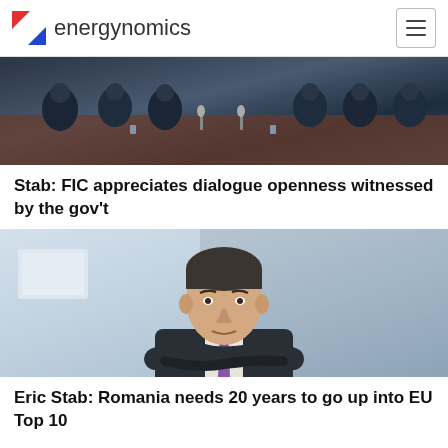energynomics
[Figure (photo): People seated around a conference table in a meeting room, business professional setting]
Stab: FIC appreciates dialogue openness witnessed by the gov't
[Figure (photo): Professional headshot of a middle-aged man in a dark suit with purple tie, arms crossed, in an office setting]
Eric Stab: Romania needs 20 years to go up into EU Top 10